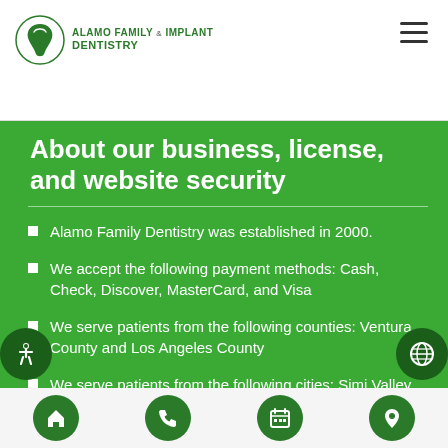Alamo Family & Implant Dentistry
About our business, license, and website security
Alamo Family Dentistry was established in 2000.
We accept the following payment methods: Cash, Check, Discover, MasterCard, and Visa
We serve patients from the following counties: Ventura County and Los Angeles County
We serve patients from the following cities: Simi Valley, Moorpark, Thousand Oaks, Camarillo, Granada Hills, Santa Clarita, Canoga Park, Chatsworth, Woodland Hills and Stevenson